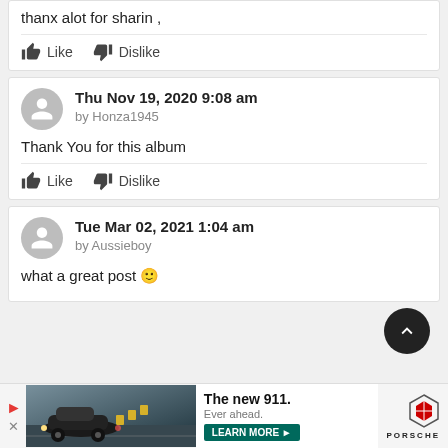thanx alot for sharin ,
Like   Dislike
Thu Nov 19, 2020 9:08 am by Honza1945
Thank You for this album
Like   Dislike
Tue Mar 02, 2021 1:04 am by Aussieboy
what a great post 🙂
[Figure (photo): Porsche The new 911 advertisement banner at the bottom of the page. Shows a dark Porsche 911 car on a road with chevron road signs. Text: The new 911. Ever ahead. LEARN MORE. Porsche logo.]